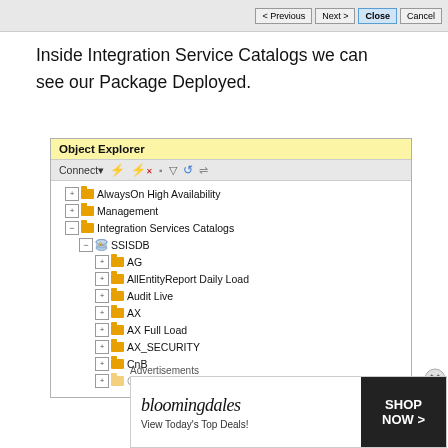[Figure (screenshot): Top portion of a dialog box showing Previous, Next, Close, Cancel buttons]
Inside Integration Service Catalogs we can see our Package Deployed.
[Figure (screenshot): SQL Server Management Studio Object Explorer showing Integration Services Catalogs tree with SSISDB and folders: AG, AllEntityReport Daily Load, Audit Live, AX, AX Full Load, AX_SECURITY, CnB, and more]
Advertisements
[Figure (screenshot): Bloomingdale's advertisement banner: View Today's Top Deals! SHOP NOW >]